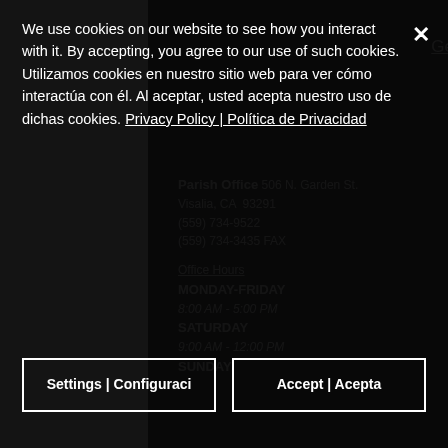Bethlehem Center
George McCann School
Privacy Policy
Parish Office
506 N. Garden St.
Visalia, CA  93291
(559) 734-9522
(559) 734-3435 FAX
Office Hours
MONDAY-FRIDAY
8:00 AM - 5:00 PM
SATURDAY
9:00 AM - 12:00 PM
SUNDAY
Liturgical Schedule
Mass Schedules
Holy Family
St Charles Borromeo
St. Mary's
St. Thomas The Apostle
Online Giving
Register for FlockNote
our Parish Newsletter
We use cookies on our website to see how you interact with it. By accepting, you agree to our use of such cookies. Utilizamos cookies en nuestro sitio web para ver cómo interactúa con él. Al aceptar, usted acepta nuestro uso de dichas cookies. Privacy Policy | Política de Privacidad
Settings | Configuraci
Accept | Acepta